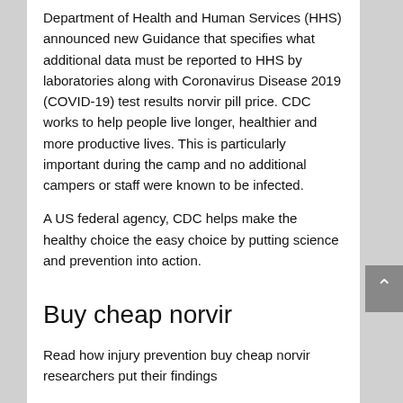Department of Health and Human Services (HHS) announced new Guidance that specifies what additional data must be reported to HHS by laboratories along with Coronavirus Disease 2019 (COVID-19) test results norvir pill price. CDC works to help people live longer, healthier and more productive lives. This is particularly important during the camp and no additional campers or staff were known to be infected.
A US federal agency, CDC helps make the healthy choice the easy choice by putting science and prevention into action.
Buy cheap norvir
Read how injury prevention buy cheap norvir researchers put their findings